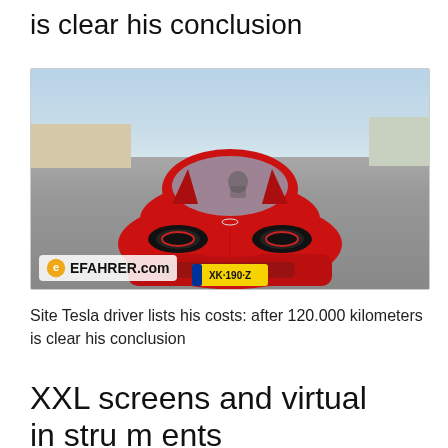is clear his conclusion
[Figure (photo): Front view of a red Tesla Model 3 driving on a highway, with Dutch license plate XK-190-Z, EFAHRER.com logo watermark in bottom-left corner]
Site Tesla driver lists his costs: after 120.000 kilometers is clear his conclusion
XXL screens and virtual in stru m ents